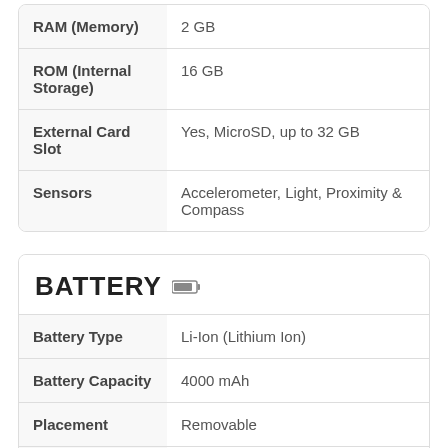| Specification | Value |
| --- | --- |
| RAM (Memory) | 2 GB |
| ROM (Internal Storage) | 16 GB |
| External Card Slot | Yes, MicroSD, up to 32 GB |
| Sensors | Accelerometer, Light, Proximity & Compass |
BATTERY
| Specification | Value |
| --- | --- |
| Battery Type | Li-Ion (Lithium Ion) |
| Battery Capacity | 4000 mAh |
| Placement | Removable |
| Fast Charging | ⚡ 5W Fast Charging |
| Reverse | No |